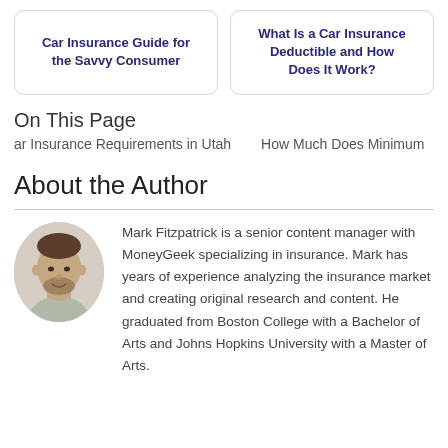Car Insurance Guide for the Savvy Consumer
What Is a Car Insurance Deductible and How Does It Work?
On This Page
ar Insurance Requirements in Utah
How Much Does Minimum
About the Author
[Figure (photo): Portrait photo of Mark Fitzpatrick, a man with short brown hair and a beard, smiling, wearing a light gray shirt]
Mark Fitzpatrick is a senior content manager with MoneyGeek specializing in insurance. Mark has years of experience analyzing the insurance market and creating original research and content. He graduated from Boston College with a Bachelor of Arts and Johns Hopkins University with a Master of Arts.